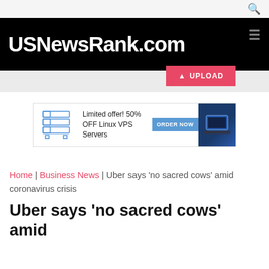USNewsRank.com
[Figure (screenshot): Advertisement banner: Limited offer! 50% OFF Linux VPS Servers with ORDER NOW button and laptop image]
Home | Business News | Uber says 'no sacred cows' amid coronavirus crisis
Uber says 'no sacred cows' amid